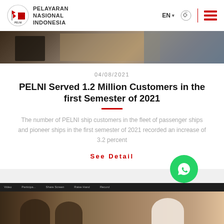PELAYARAN NASIONAL INDONESIA
[Figure (photo): Top banner image showing a ship deck or port environment]
04/08/2021
PELNI Served 1.2 Million Customers in the first Semester of 2021
The number of PELNI ship customers in the fleet of passenger ships and pioneer ships in the first semester of 2021 recorded an increase of 3.2 percent
See Detail
[Figure (photo): Bottom image showing people in a video conference meeting]